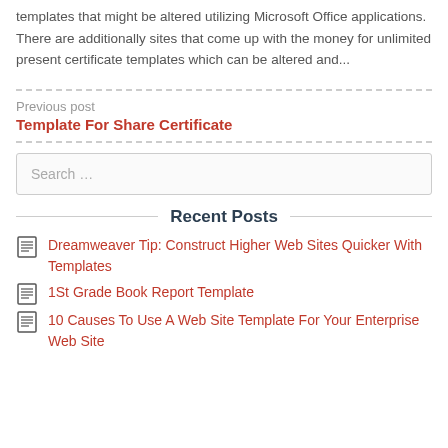templates that might be altered utilizing Microsoft Office applications. There are additionally sites that come up with the money for unlimited present certificate templates which can be altered and...
Previous post
Template For Share Certificate
Search …
Recent Posts
Dreamweaver Tip: Construct Higher Web Sites Quicker With Templates
1St Grade Book Report Template
10 Causes To Use A Web Site Template For Your Enterprise Web Site